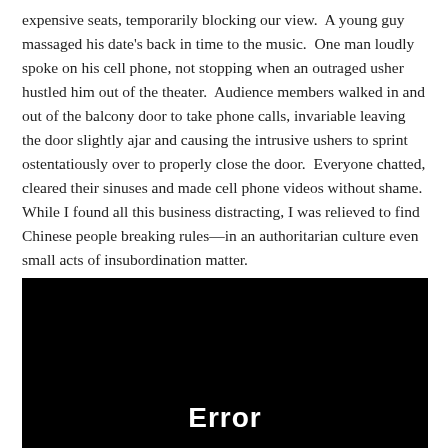expensive seats, temporarily blocking our view.  A young guy massaged his date's back in time to the music.  One man loudly spoke on his cell phone, not stopping when an outraged usher hustled him out of the theater.  Audience members walked in and out of the balcony door to take phone calls, invariable leaving the door slightly ajar and causing the intrusive ushers to sprint ostentatiously over to properly close the door.  Everyone chatted, cleared their sinuses and made cell phone videos without shame.  While I found all this business distracting, I was relieved to find Chinese people breaking rules—in an authoritarian culture even small acts of insubordination matter.
[Figure (screenshot): Black rectangle with white bold text 'Error' centered at the bottom]